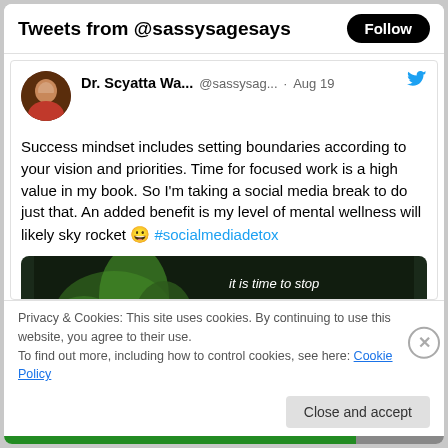Tweets from @sassysagesays
Dr. Scyatta Wa... @sassysag... · Aug 19
Success mindset includes setting boundaries according to your vision and priorities. Time for focused work is a high value in my book. So I'm taking a social media break to do just that. An added benefit is my level of mental wellness will likely sky rocket 😀 #socialmediadetox
[Figure (photo): Dark image with green plant/leaves on left and white text on right reading 'it is time to stop clicking to do the social']
Privacy & Cookies: This site uses cookies. By continuing to use this website, you agree to their use.
To find out more, including how to control cookies, see here: Cookie Policy
Close and accept